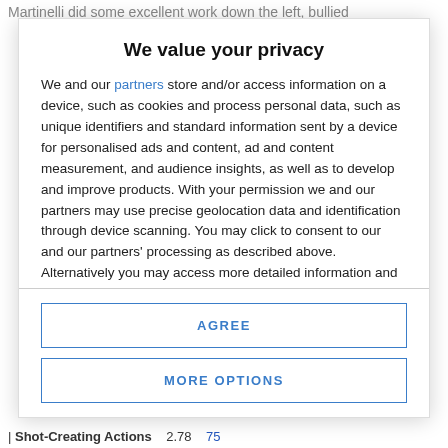Martinelli did some excellent work down the left, bullied
We value your privacy
We and our partners store and/or access information on a device, such as cookies and process personal data, such as unique identifiers and standard information sent by a device for personalised ads and content, ad and content measurement, and audience insights, as well as to develop and improve products. With your permission we and our partners may use precise geolocation data and identification through device scanning. You may click to consent to our and our partners' processing as described above. Alternatively you may access more detailed information and change your preferences before consenting or to refuse consenting. Please note that some processing of your personal data may not require your consent, but you have a right to
AGREE
MORE OPTIONS
| Shot-Creating Actions   2.78   75